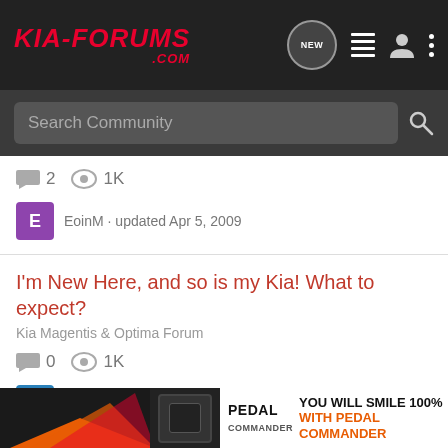KIA-FORUMS.COM — header navigation bar
Search Community
2 replies · 1K views · EoinM · updated Apr 5, 2009
I'm New Here, and so is my Kia! What to expect?
Kia Magentis & Optima Forum
0 replies · 1K views · Koko4 · updated Jan 27, 2009
2014 Kia Sedona EX Opinions/Experiences?
Kia Carnival & Sedona 2006+
2 replies
[Figure (advertisement): Pedal Commander ad banner: YOU WILL SMILE 100% WITH PEDAL COMMANDER]